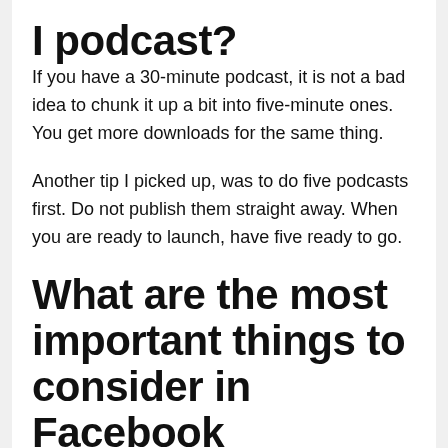I podcast?
If you have a 30-minute podcast, it is not a bad idea to chunk it up a bit into five-minute ones. You get more downloads for the same thing.
Another tip I picked up, was to do five podcasts first. Do not publish them straight away. When you are ready to launch, have five ready to go.
What are the most important things to consider in Facebook Marketing ?